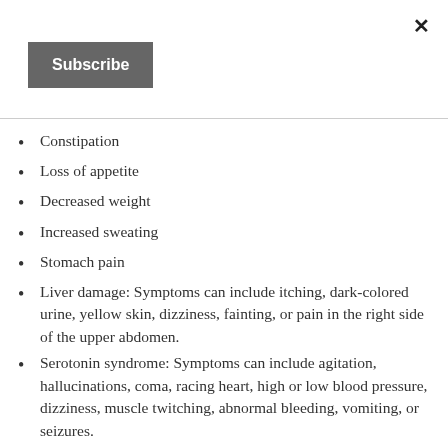[Figure (other): Subscribe button UI overlay with close (×) button in top right corner]
Constipation
Loss of appetite
Decreased weight
Increased sweating
Stomach pain
Liver damage: Symptoms can include itching, dark-colored urine, yellow skin, dizziness, fainting, or pain in the right side of the upper abdomen.
Serotonin syndrome: Symptoms can include agitation, hallucinations, coma, racing heart, high or low blood pressure, dizziness, muscle twitching, abnormal bleeding, vomiting, or seizures.
Skin reactions: Severe skin reactions can have